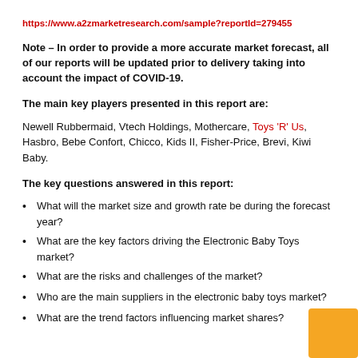https://www.a2zmarketresearch.com/sample?reportId=279455
Note – In order to provide a more accurate market forecast, all of our reports will be updated prior to delivery taking into account the impact of COVID-19.
The main key players presented in this report are:
Newell Rubbermaid, Vtech Holdings, Mothercare, Toys 'R' Us, Hasbro, Bebe Confort, Chicco, Kids II, Fisher-Price, Brevi, Kiwi Baby.
The key questions answered in this report:
What will the market size and growth rate be during the forecast year?
What are the key factors driving the Electronic Baby Toys market?
What are the risks and challenges of the market?
Who are the main suppliers in the electronic baby toys market?
What are the trend factors influencing market shares?